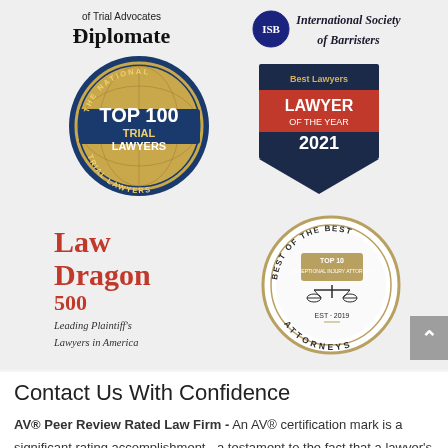[Figure (logo): of Trial Advocates Diplomate text logo]
[Figure (logo): International Society of Barristers logo with navy emblem]
[Figure (logo): The National Top 100 Trial Lawyers circular badge in blue and gold]
[Figure (logo): Best Lawyers - Lawyer of the Year 2021 badge in dark navy and red]
[Figure (logo): Law Dragon 500 Leading Plaintiff's Lawyers in America text logo in red]
[Figure (logo): Best of the Best Top 10 Exceptional Injury Attorneys circular badge, EST 2019, gold and dark]
Contact Us With Confidence
AV® Peer Review Rated Law Firm - An AV® certification mark is a significant rating accomplishment - a testament to the fact that a lawyer's peers rank him or her at the highest level of